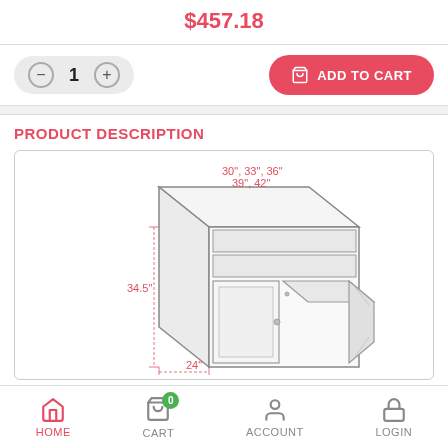$457.18
1  ADD TO CART
PRODUCT DESCRIPTION
[Figure (engineering-diagram): Cabinet engineering diagram showing double door base cabinet with dimensions: 30", 33", 36", 39", 42" width, 34.5" height, 24" depth]
MODEL  FB22-SB36
36" Wide Double Doors, Two Drawer Fronts (36"W x
HOME  CART  0  ACCOUNT  LOGIN